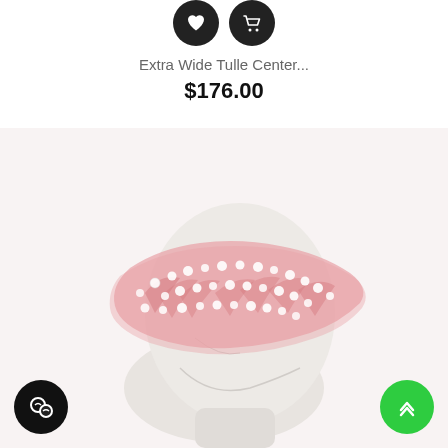[Figure (other): Two circular dark buttons at top center — a heart/wishlist icon and a shopping cart icon]
Extra Wide Tulle Center...
$176.00
[Figure (photo): Photo of a pink wide tulle headband with pearl embellishments displayed on a white mannequin head]
[Figure (other): Black circular chat/customer support button at bottom left]
[Figure (other): Green circular scroll-to-top button at bottom right]